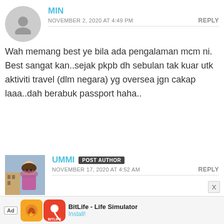MIN
NOVEMBER 2, 2020 AT 4:49 PM
REPLY
Wah memang best ye bila ada pengalaman mcm ni. Best sangat kan..sejak pkpb dh sebulan tak kuar utk aktiviti travel (dlm negara) yg oversea jgn cakap laaa..dah berabuk passport haha..
[Figure (photo): Profile photo of UMMI - woman smiling with building in background]
UMMI POST AUTHOR
NOVEMBER 17, 2020 AT 4:52 AM
REPLY
Hmmm tu la, saya pun sama. Dah la baru renew passport awal tahun
Ad  BitLife - Life Simulator  Install!